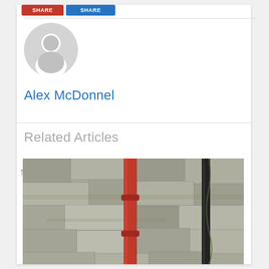[Figure (screenshot): Red and blue share/social buttons at top of page]
[Figure (illustration): Default grey avatar/profile icon circle]
Alex McDonnel
Related Articles
[Figure (photo): Photo of a stone wall with red and black pipes]